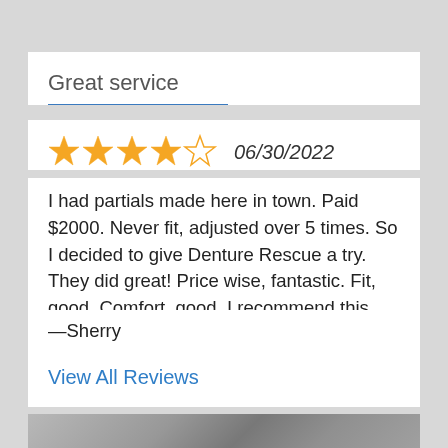Great service
★★★★☆  06/30/2022
I had partials made here in town. Paid $2000. Never fit, adjusted over 5 times. So I decided to give Denture Rescue a try. They did great! Price wise, fantastic. Fit, good. Comfort, good. I recommend this company to all.
—Sherry
View All Reviews
[Figure (photo): Partial view of a photo at the bottom of the page, appears to show dental-related imagery in black and white/grayscale]